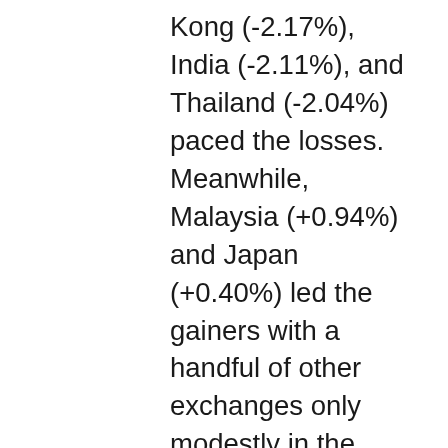Kong (-2.17%), India (-2.11%), and Thailand (-2.04%) paced the losses. Meanwhile, Malaysia (+0.94%) and Japan (+0.40%) led the gainers with a handful of other exchanges only modestly in the green.  In Europe, with the exception of Russia, stocks are deeply in the red across the board at mid-day.  The FTSE (-2.44%), DAX (-2.93%), and CAC (-2.44%) lead the way on trading volume with many smaller exchanges making bigger moves down in early afternoon trading.  As of 7:30 am, US Futures are pointing to a significant gap lower after rethinking the Fed announcements overnight.  The DIA is implying a -1.82% open, the SPY